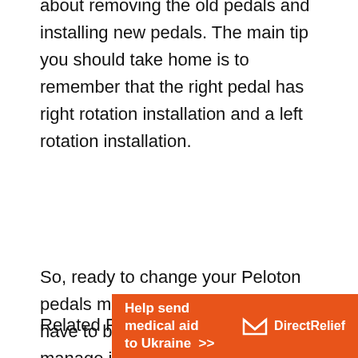about removing the old pedals and installing new pedals. The main tip you should take home is to remember that the right pedal has right rotation installation and a left rotation installation.
So, ready to change your Peloton pedals more confidently? You don't have to be a bike mechanic to manage it successfully!
Related Posts:
[Figure (infographic): Orange Direct Relief banner: 'Help send medical aid to Ukraine >>' with Direct Relief logo on the right]